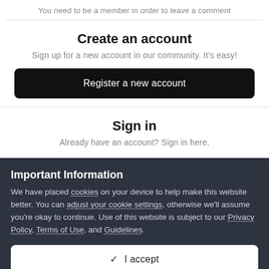You need to be a member in order to leave a comment
Create an account
Sign up for a new account in our community. It's easy!
Register a new account
Sign in
Already have an account? Sign in here.
Important Information
We have placed cookies on your device to help make this website better. You can adjust your cookie settings, otherwise we'll assume you're okay to continue. Use of this website is subject to our Privacy Policy, Terms of Use, and Guidelines.
✓  I accept